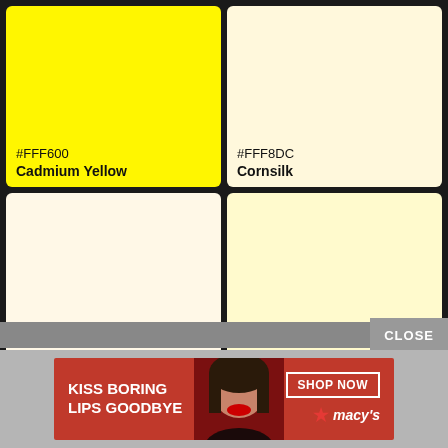[Figure (infographic): Color swatch grid showing four colors: Cadmium Yellow (#FFF600), Cornsilk (#FFF8DC), Cosmic Latte (#FFF8E7), Lemon Chiffon (#FFFACD)]
#FFF600
Cadmium Yellow
#FFF8DC
Cornsilk
#FFF8E7
Cosmic Latte
#FFFACD
Lemon Chiffon
CLOSE
[Figure (photo): Macy's advertisement banner: KISS BORING LIPS GOODBYE, SHOP NOW, macy's star logo, woman with red lipstick]